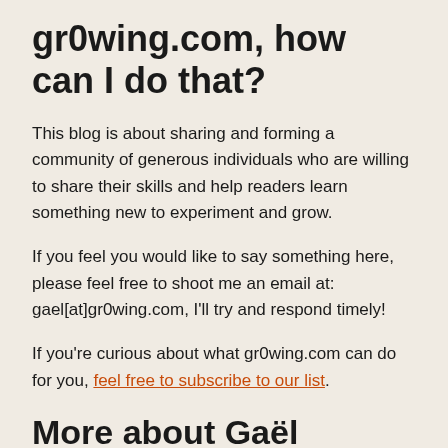gr0wing.com, how can I do that?
This blog is about sharing and forming a community of generous individuals who are willing to share their skills and help readers learn something new to experiment and grow.
If you feel you would like to say something here, please feel free to shoot me an email at: gael[at]gr0wing.com, I'll try and respond timely!
If you're curious about what gr0wing.com can do for you, feel free to subscribe to our list.
More about Gaël Blanchomain